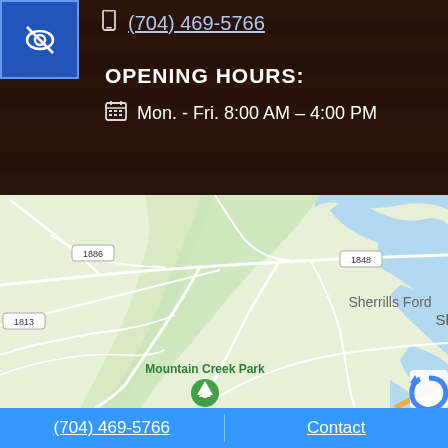(704) 469-5766
OPENING HOURS:
Mon. - Fri. 8:00 AM – 4:00 PM
[Figure (map): Google Maps view showing Sherrills Ford area with Mountain Creek Park marked by a green tree pin. Road numbers 1886, 1848, 1813 visible. Water bodies shown in blue on right side.]
(704) 469-5766
Contact